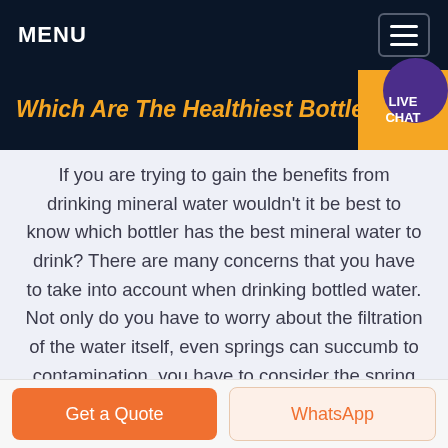MENU
Which Are The Healthiest Bottle...
If you are trying to gain the benefits from drinking mineral water wouldn't it be best to know which bottler has the best mineral water to drink? There are many concerns that you have to take into account when drinking bottled water. Not only do you have to worry about the filtration of the water itself, even springs can succumb to contamination, you have to consider the spring itself. It ...
Get a Quote
WhatsApp